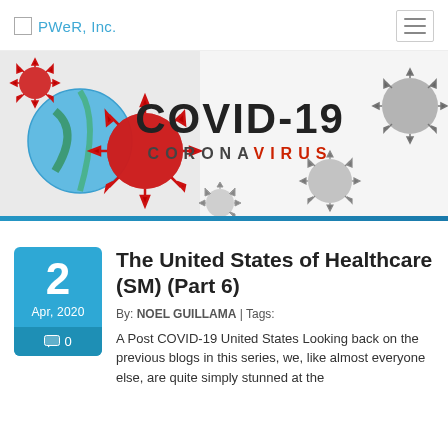PWeR, Inc.
[Figure (illustration): COVID-19 Coronavirus banner image showing red and gray coronavirus particles against a white background with a globe, and bold text reading COVID-19 CORONAVIRUS]
The United States of Healthcare (SM) (Part 6)
By: NOEL GUILLAMA | Tags:
A Post COVID-19 United States Looking back on the previous blogs in this series, we, like almost everyone else, are quite simply stunned at the